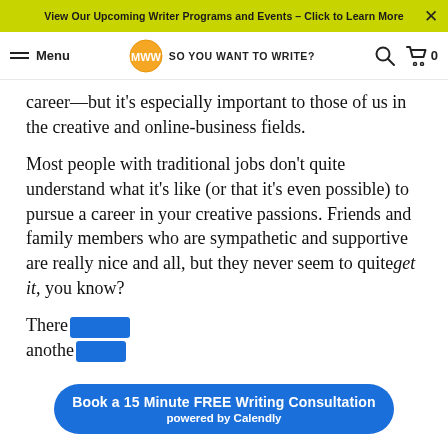View Our Upcoming Writer Programs and Events – Click to Learn More
Menu | SO YOU WANT TO WRITE?
career—but it's especially important to those of us in the creative and online-business fields.
Most people with traditional jobs don't quite understand what it's like (or that it's even possible) to pursue a career in your creative passions. Friends and family members who are sympathetic and supportive are really nice and all, but they never seem to quite get it, you know?
There another
[Figure (other): Blue rounded CTA button overlay: 'Book a 15 Minute FREE Writing Consultation powered by Calendly']